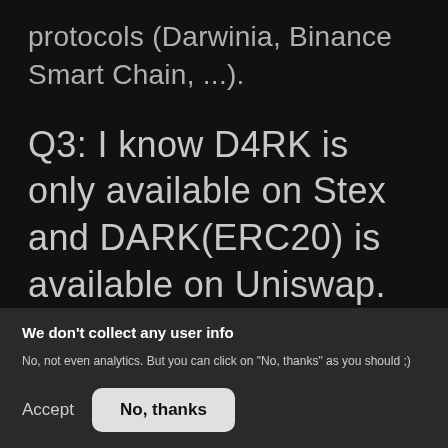protocols (Darwinia, Binance Smart Chain, ...).
Q3: I know D4RK is only available on Stex and DARK(ERC20) is available on Uniswap. And or will there be
We don't collect any user info
No, not even analytics. But you can click on "No, thanks" as you should ;)
Accept
No, thanks